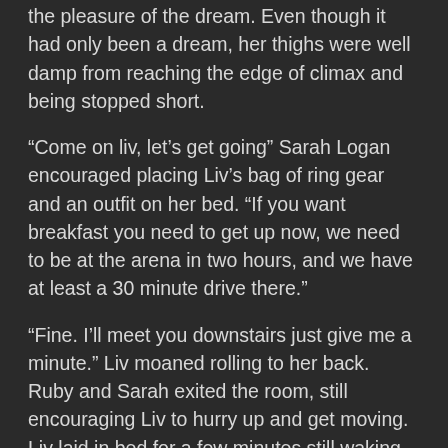the pleasure of the dream. Even though it had only been a dream, her thighs were well damp from reaching the edge of climax and being stopped short.
“Come on liv, let’s get going” Sarah Logan encouraged placing Liv’s bag of ring gear and an outfit on her bed. “If you want breakfast you need to get up now, we need to be at the arena in two hours, and we have at least a 30 minute drive there.”
“Fine. I’ll meet you downstairs just give me a minute.” Liv moaned rolling to her back. Ruby and Sarah exited the room, still encouraging Liv to hurry up and get moving. Liv laid in bed for a few minutes still waking up. She pulled her phone off the charger and scrolled thru her notifications. A few texts from friends and family back in New Jersey, quickly responded to. Some